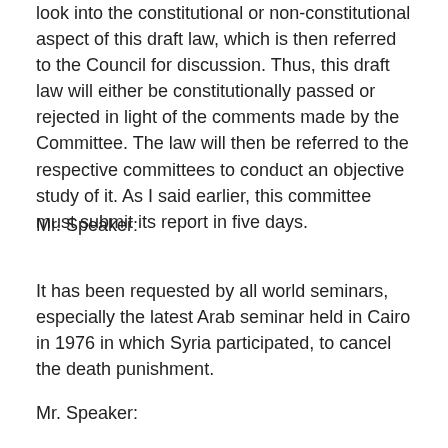look into the constitutional or non-constitutional aspect of this draft law, which is then referred to the Council for discussion. Thus, this draft law will either be constitutionally passed or rejected in light of the comments made by the Committee. The law will then be referred to the respective committees to conduct an objective study of it. As I said earlier, this committee must submit its report in five days.
Mr. Speaker:
It has been requested by all world seminars, especially the latest Arab seminar held in Cairo in 1976 in which Syria participated, to cancel the death punishment.
Mr. Speaker: